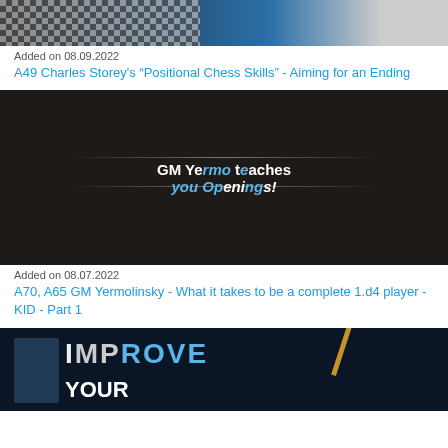[Figure (screenshot): Chess board thumbnail with chess piece, blue gradient and gray section]
Added on 08.09.2022
A49 Charles Storey's "Positional Chess Skills" - Aiming for an Ending
[Figure (screenshot): Dark background thumbnail with text: GM Yermo teaches you Openings!]
Added on 08.07.2022
A70, A65 GM Yermolinsky - What it takes to be a complete 1.d4 player - KID - Part 1
[Figure (screenshot): Dark blue background thumbnail showing person and bold text IMPROVE YOUR...]